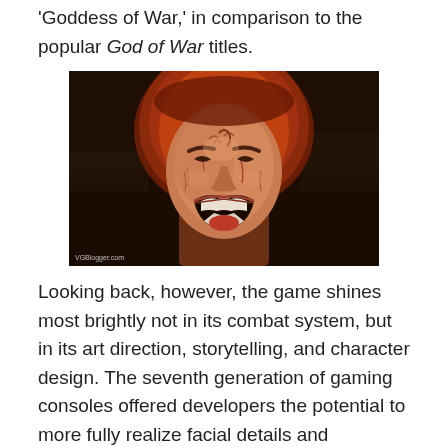'Goddess of War,' in comparison to the popular God of War titles.
[Figure (photo): Close-up photo of an angry screaming man wearing a red hood, from a video game cinematic. Watermark 'VGBlogger.com' in lower left corner.]
Looking back, however, the game shines most brightly not in its combat system, but in its art direction, storytelling, and character design. The seventh generation of gaming consoles offered developers the potential to more fully realize facial details and emotions. Much like the acting in a play, expression and physicality are important in telling a convincing story. For a long time, gamers didn't have